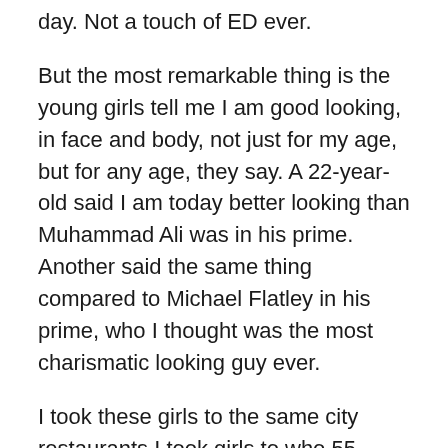day. Not a touch of ED ever.
But the most remarkable thing is the young girls tell me I am good looking, in face and body, not just for my age, but for any age, they say. A 22-year-old said I am today better looking than Muhammad Ali was in his prime. Another said the same thing compared to Michael Flatley in his prime, who I thought was the most charismatic looking guy ever.
I took these girls to the same city restaurants I took girls to who 55 years ago were the same ages as the current girls. When we dine and I look across the table at these young beauties, it feels as though time has stood still. But recently I only go out with one girl, who is 23 years old, but was 21 when I first met her. All my